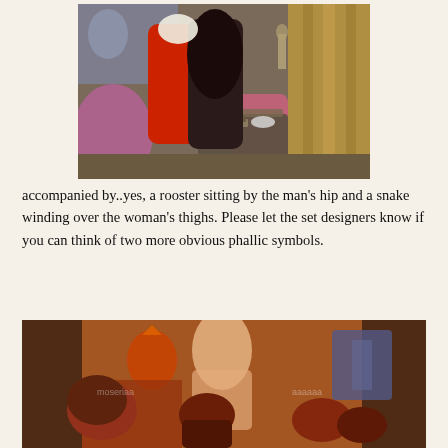[Figure (photo): A photo of two people embracing indoors; one person in a red top, another in dark clothing with long dark hair. Pink chairs and a glass coffee table visible in background with curtains and a statue.]
accompanied by..yes, a rooster sitting by the man's hip and a snake winding over the woman's thighs. Please let the set designers know if you can think of two more obvious phallic symbols.
[Figure (photo): A photo of people at what appears to be an event or party, gathered around a colorful mural/artwork depicting stylized figures. Red lighting illuminates the scene.]